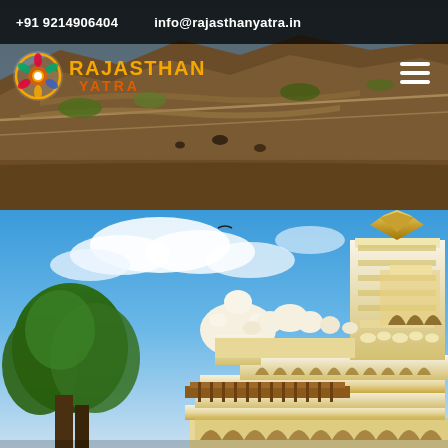+91 9214906404   info@rajasthanyatra.in
[Figure (photo): Landscape photo of rocky hillside with fortification walls used as website header background]
[Figure (logo): Rajasthan Yatra logo with colorful circular emblem and orange/amber text saying RAJASTHAN YATRA]
[Figure (photo): Large photo of a white marble Rajasthani temple (Jaswant Thada, Jodhpur) with ornate domes, arches, and spires against a blue sky with trees in foreground]